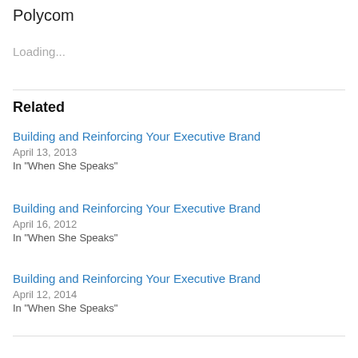Polycom
Loading...
Related
Building and Reinforcing Your Executive Brand
April 13, 2013
In "When She Speaks"
Building and Reinforcing Your Executive Brand
April 16, 2012
In "When She Speaks"
Building and Reinforcing Your Executive Brand
April 12, 2014
In "When She Speaks"